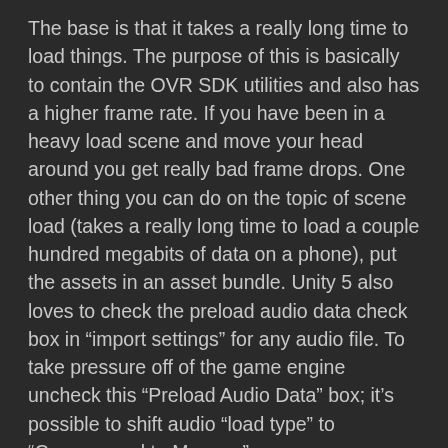The base is that it takes a really long time to load things. The purpose of this is basically to contain the OVR SDK utilities and also has a higher frame rate. If you have been in a heavy load scene and move your head around you get really bad frame drops. One other thing you can do on the topic of scene load (takes a really long time to load a couple hundred megabits of data on a phone), put the assets in an asset bundle. Unity 5 also loves to check the preload audio data check box in “import settings” for any audio file. To take pressure off of the game engine uncheck this “Preload Audio Data” box; it’s possible to shift audio “load type” to “Compressed to Memory”.
Before the level load
Put scenes assets in an asset bundle, use the